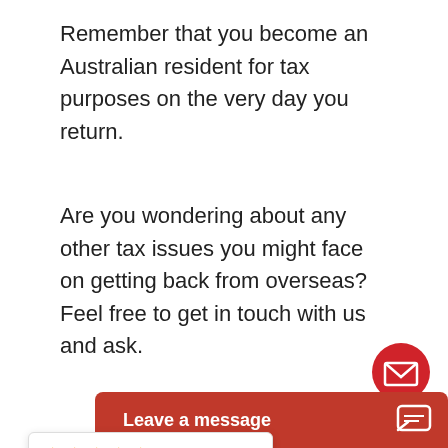Remember that you become an Australian resident for tax purposes on the very day you return.
Are you wondering about any other tax issues you might face on getting back from overseas? Feel free to get in touch with us and ask.
[Figure (other): Red circular email/envelope button]
[Figure (other): Rating widget showing 5 gold stars. Expat Taxes is rated 4.9/5 from 141 reviews & testimonials.]
Posts
hane
Follow me
[Figure (other): Twitter/X social media button in light blue]
[Figure (photo): Round author photo of a man in a suit with arms crossed]
[Figure (other): Black circular badge with a star icon]
Macfarlane CA
Leave a message